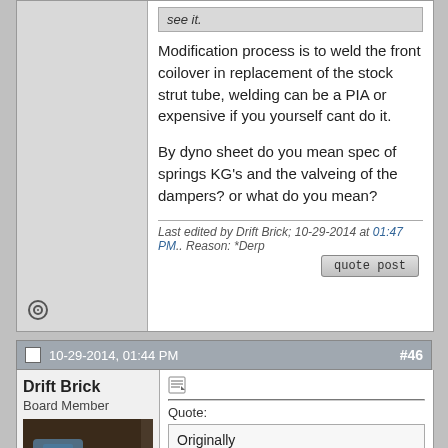see it.
Modification process is to weld the front coilover in replacement of the stock strut tube, welding can be a PIA or expensive if you yourself cant do it.
By dyno sheet do you mean spec of springs KG's and the valveing of the dampers? or what do you mean?
Last edited by Drift Brick; 10-29-2014 at 01:47 PM.. Reason: *Derp
10-29-2014, 01:44 PM
#46
Drift Brick
Board Member
Quote:
Originally Posted by